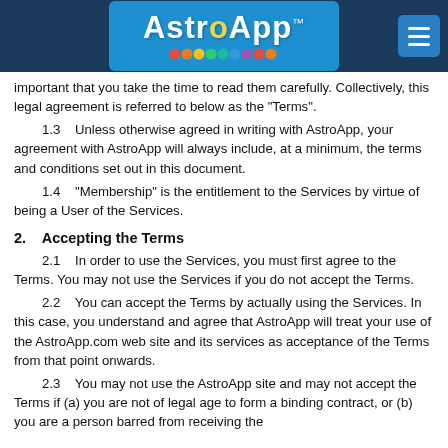AstroApp™
important that you take the time to read them carefully. Collectively, this legal agreement is referred to below as the "Terms".
1.3    Unless otherwise agreed in writing with AstroApp, your agreement with AstroApp will always include, at a minimum, the terms and conditions set out in this document.
1.4    "Membership" is the entitlement to the Services by virtue of being a User of the Services.
2.    Accepting the Terms
2.1    In order to use the Services, you must first agree to the Terms. You may not use the Services if you do not accept the Terms.
2.2    You can accept the Terms by actually using the Services. In this case, you understand and agree that AstroApp will treat your use of the AstroApp.com web site and its services as acceptance of the Terms from that point onwards.
2.3    You may not use the AstroApp site and may not accept the Terms if (a) you are not of legal age to form a binding contract, or (b) you are a person barred from receiving the